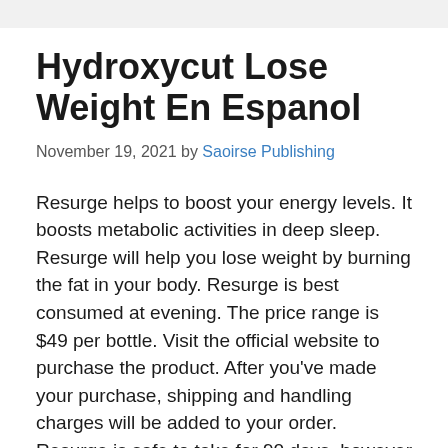Hydroxycut Lose Weight En Espanol
November 19, 2021 by Saoirse Publishing
Resurge helps to boost your energy levels. It boosts metabolic activities in deep sleep. Resurge will help you lose weight by burning the fat in your body. Resurge is best consumed at evening. The price range is $49 per bottle. Visit the official website to purchase the product. After you've made your purchase, shipping and handling charges will be added to your order. Resurge is safe to take for 90 days, however the